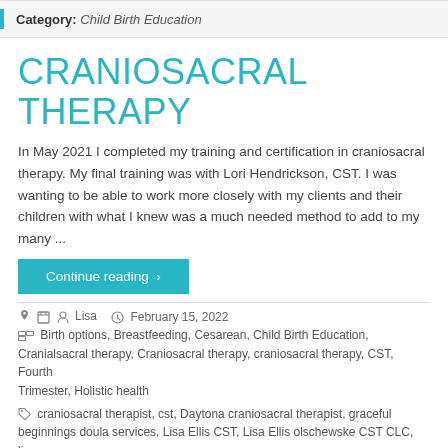Category: Child Birth Education
CRANIOSACRAL THERAPY
In May 2021 I completed my training and certification in craniosacral therapy. My final training was with Lori Hendrickson, CST. I was wanting to be able to work more closely with my clients and their children with what I knew was a much needed method to add to my many ...
Continue reading →
Lisa   February 15, 2022
Birth options, Breastfeeding, Cesarean, Child Birth Education, Cranialsacral therapy, Craniosacral therapy, craniosacral therapy, CST, Fourth Trimester, Holistic health
craniosacral therapist, cst, Daytona craniosacral therapist, graceful beginnings doula services, Lisa Ellis CST, Lisa Ellis olschewske CST CLC, lisa olschewske birth doula, new smyrna craniosacral therapy, Ormond Beach craniosacral therapist, palm coast craniosacral therapy, port orange cst,